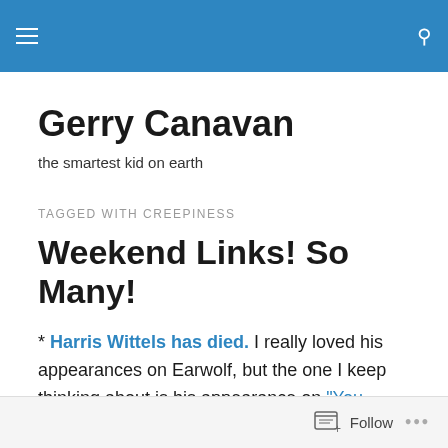Gerry Canavan [navigation bar with hamburger menu and search icon]
Gerry Canavan
the smartest kid on earth
TAGGED WITH CREEPINESS
Weekend Links! So Many!
* Harris Wittels has died. I really loved his appearances on Earwolf, but the one I keep thinking about is his appearance on "You Made It Weird" last November, where he spoke about his addiction at length. The humblebrag.
Follow ...